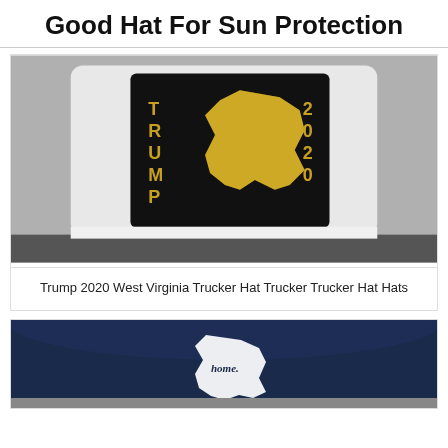Good Hat For Sun Protection
[Figure (photo): Trump 2020 West Virginia Trucker Hat - dark colored trucker hat with black panel showing 'TRUMP 2020' text and West Virginia state map in gold glitter on white mesh back]
Trump 2020 West Virginia Trucker Hat Trucker Trucker Hat Hats
[Figure (photo): Navy blue hat with white embroidered West Virginia state shape with 'home.' text inside]